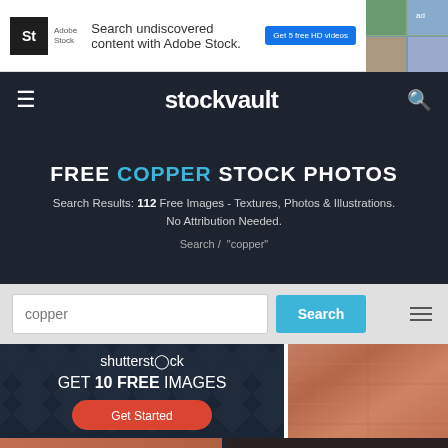[Figure (screenshot): Adobe Stock advertisement banner with logo and 'Get 5 free HD videos' button]
stockvault
FREE COPPER STOCK PHOTOS
Search Results: 112 Free Images - Textures, Photos & Illustrations. No Attribution Needed.
Search / "copper"
copper  Search
[Figure (screenshot): Shutterstock advertisement: GET 10 FREE IMAGES on diamond plate background with Get Started button]
[Figure (photo): Copper texture close-up photograph]
[Figure (photo): Copper texture photograph bottom left]
[Figure (photo): Dark industrial scene with warm light bottom right]